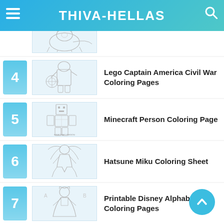THIVA-HELLAS
[Figure (illustration): Partial view of a coloring page thumbnail (item 3, cropped at top)]
4 Lego Captain America Civil War Coloring Pages
5 Minecraft Person Coloring Page
6 Hatsune Miku Coloring Sheet
7 Printable Disney Alphabet Coloring Pages
8 Zig And Sharko Colouring Pages